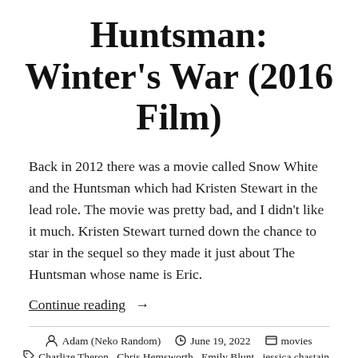Huntsman: Winter's War (2016 Film)
Back in 2012 there was a movie called Snow White and the Huntsman which had Kristen Stewart in the lead role. The movie was pretty bad, and I didn't like it much. Kristen Stewart turned down the chance to star in the sequel so they made it just about The Huntsman whose name is Eric.
Continue reading →
Adam (Neko Random)   June 19, 2022   movies   Charlize Theron , Chris Hemsworth , Emily Blunt , jessica chastain , movie review   Leave a comment